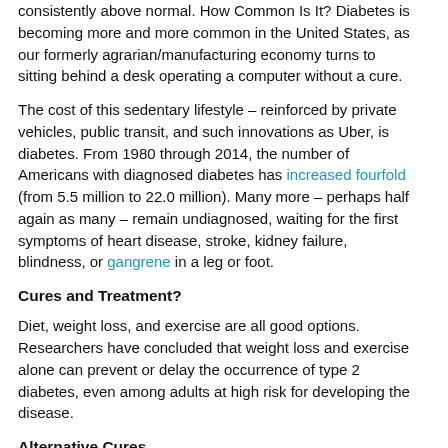consistently above normal. How Common Is It? Diabetes is becoming more and more common in the United States, as our formerly agrarian/manufacturing economy turns to sitting behind a desk operating a computer without a cure.
The cost of this sedentary lifestyle – reinforced by private vehicles, public transit, and such innovations as Uber, is diabetes. From 1980 through 2014, the number of Americans with diagnosed diabetes has increased fourfold (from 5.5 million to 22.0 million). Many more – perhaps half again as many – remain undiagnosed, waiting for the first symptoms of heart disease, stroke, kidney failure, blindness, or gangrene in a leg or foot.
Cures and Treatment?
Diet, weight loss, and exercise are all good options. Researchers have concluded that weight loss and exercise alone can prevent or delay the occurrence of type 2 diabetes, even among adults at high risk for developing the disease.
Alternative Cures
Diet is the first line of defense. The best diet plan involves large amounts of fruits, vegetables, high-fiber foods, and whole grains (wild or brown rice, multigrain breads, cereals and pastas). Avoid most fats, especially dairy and animal protein fats, and salt.
Weight loss is important. The greater the Body Mass Index, or BMI